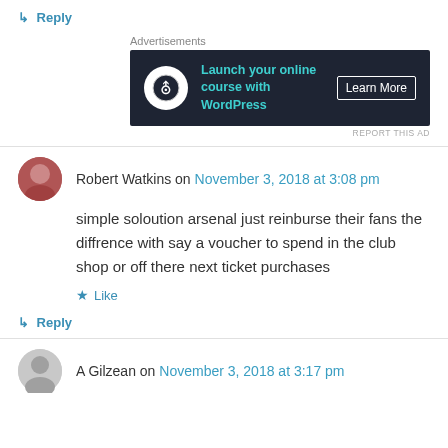↳ Reply
[Figure (screenshot): Advertisement banner for 'Launch your online course with WordPress' with a Learn More button on dark background]
Robert Watkins on November 3, 2018 at 3:08 pm
simple soloution arsenal just reinburse their fans the diffrence with say a voucher to spend in the club shop or off there next ticket purchases
Like
↳ Reply
A Gilzean on November 3, 2018 at 3:17 pm